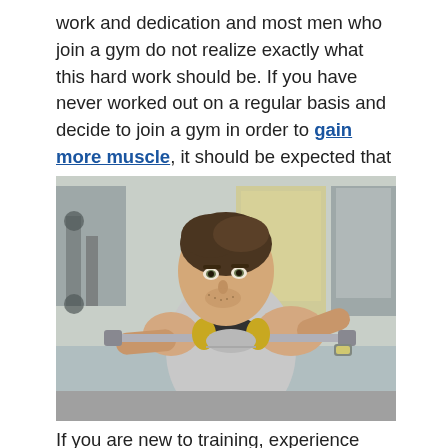work and dedication and most men who join a gym do not realize exactly what this hard work should be. If you have never worked out on a regular basis and decide to join a gym in order to gain more muscle, it should be expected that you know what you are in for.
[Figure (photo): A young muscular man in a gray sleeveless shirt performing a squat or shoulder exercise with a barbell in a gym setting, looking focused.]
If you are new to training, experience under for the first